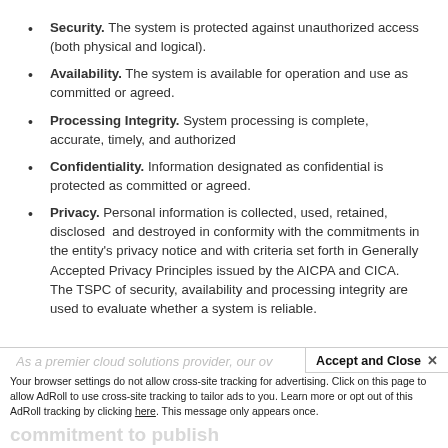Security. The system is protected against unauthorized access (both physical and logical).
Availability. The system is available for operation and use as committed or agreed.
Processing Integrity. System processing is complete, accurate, timely, and authorized
Confidentiality. Information designated as confidential is protected as committed or agreed.
Privacy. Personal information is collected, used, retained, disclosed  and destroyed in conformity with the commitments in the entity’s privacy notice and with criteria set forth in Generally Accepted Privacy Principles issued by the AICPA and CICA. The TSPC of security, availability and processing integrity are used to evaluate whether a system is reliable.
Accept and Close × Your browser settings do not allow cross-site tracking for advertising. Click on this page to allow AdRoll to use cross-site tracking to tailor ads to you. Learn more or opt out of this AdRoll tracking by clicking here. This message only appears once.